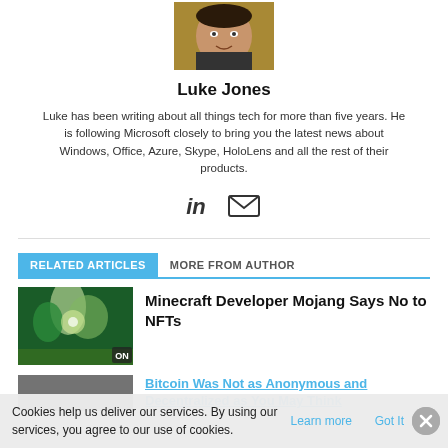[Figure (photo): Headshot photo of Luke Jones against a yellow/dark background]
Luke Jones
Luke has been writing about all things tech for more than five years. He is following Microsoft closely to bring you the latest news about Windows, Office, Azure, Skype, HoloLens and all the rest of their products.
[Figure (logo): LinkedIn icon and email/envelope icon]
RELATED ARTICLES   MORE FROM AUTHOR
[Figure (photo): Minecraft game screenshot showing forest scene]
Minecraft Developer Mojang Says No to NFTs
Bitcoin Was Not as Anonymous and Decentralized as You May Think
Cookies help us deliver our services. By using our services, you agree to our use of cookies. Learn more   Got It